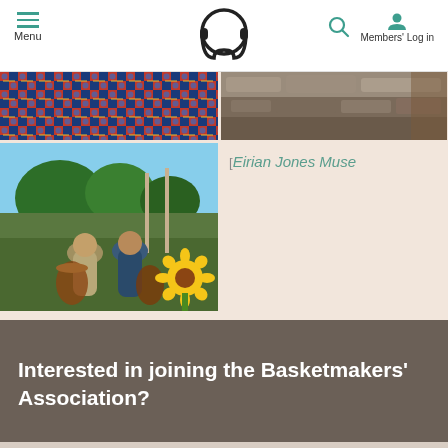Menu | Basketmakers Association logo | Search | Members' Log in
[Figure (photo): Colorful woven textile pattern with blue and red geometric designs]
[Figure (photo): Stone wall close-up with rocks and wood]
[Figure (photo): Two people seen from behind holding wicker baskets in a garden with sunflower]
[Eirian Jones Muse
Interested in joining the Basketmakers' Association?